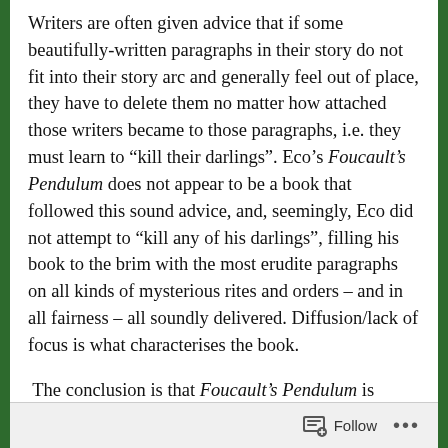Writers are often given advice that if some beautifully-written paragraphs in their story do not fit into their story arc and generally feel out of place, they have to delete them no matter how attached those writers became to those paragraphs, i.e. they must learn to “kill their darlings”. Eco’s Foucault’s Pendulum does not appear to be a book that followed this sound advice, and, seemingly, Eco did not attempt to “kill any of his darlings”, filling his book to the brim with the most erudite paragraphs on all kinds of mysterious rites and orders – and in all fairness – all soundly delivered. Diffusion/lack of focus is what characterises the book.
The conclusion is that Foucault’s Pendulum is highly erudite and labyrinth-like, riddled with historical curiosities, occult science and esoteric themes.
Follow ...